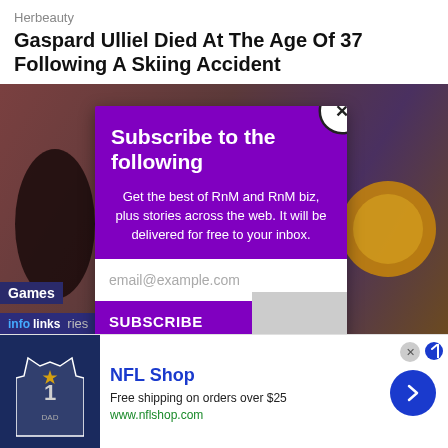Herbeauty
Gaspard Ulliel Died At The Age Of 37 Following A Skiing Accident
[Figure (screenshot): Background image showing animated character near brick wall, with a purple subscription modal overlay. Modal contains title 'Subscribe to the following', body text, email input, and Subscribe button. Close button in top-right corner. Games and infolinks overlays at bottom-left.]
[Figure (photo): NFL Shop advertisement banner with Dallas Cowboys jersey image, NFL Shop title, free shipping offer, website URL, and blue arrow button.]